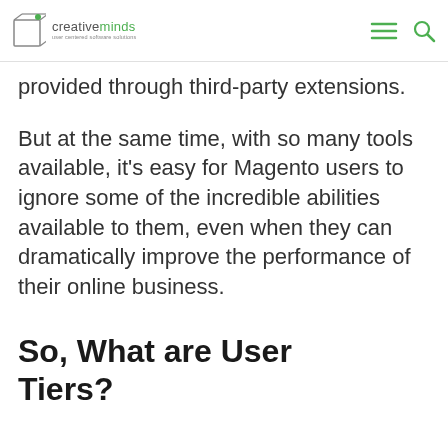creativeminds — user centered software solutions
provided through third-party extensions.
But at the same time, with so many tools available, it's easy for Magento users to ignore some of the incredible abilities available to them, even when they can dramatically improve the performance of their online business.
So, What are User Tiers?